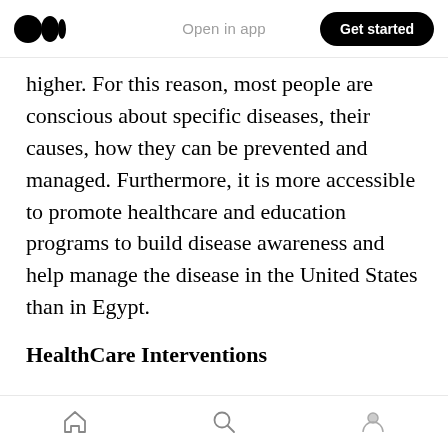Open in app | Get started
higher. For this reason, most people are conscious about specific diseases, their causes, how they can be prevented and managed. Furthermore, it is more accessible to promote healthcare and education programs to build disease awareness and help manage the disease in the United States than in Egypt.
HealthCare Interventions
Some healthcare interventions for combating liver diseases in Egypt include introducing an integrated national approach that had
Home | Search | Profile